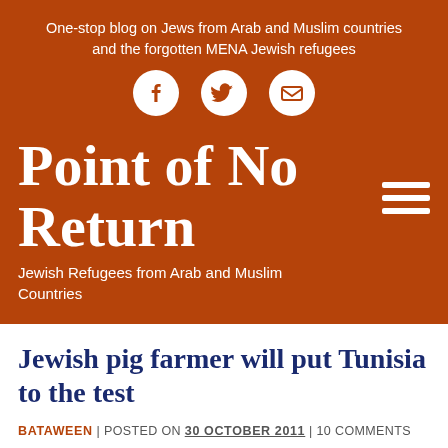One-stop blog on Jews from Arab and Muslim countries and the forgotten MENA Jewish refugees
[Figure (other): Social media icons: Facebook, Twitter, Email]
Point of No Return
Jewish Refugees from Arab and Muslim Countries
Jewish pig farmer will put Tunisia to the test
BATAWEEN | POSTED ON 30 OCTOBER 2011 | 10 COMMENTS